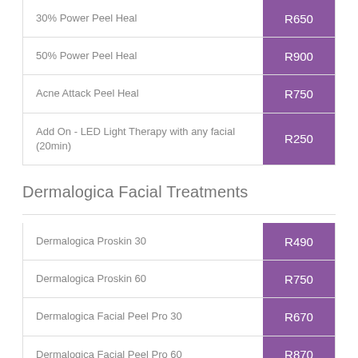| Service | Price |
| --- | --- |
| 30% Power Peel Heal | R650 |
| 50% Power Peel Heal | R900 |
| Acne Attack Peel Heal | R750 |
| Add On - LED Light Therapy with any facial (20min) | R250 |
Dermalogica Facial Treatments
| Service | Price |
| --- | --- |
| Dermalogica Proskin 30 | R490 |
| Dermalogica Proskin 60 | R750 |
| Dermalogica Facial Peel Pro 30 | R670 |
| Dermalogica Facial Peel Pro 60 | R870 |
| DermaPen 4 - Face | R1700 |